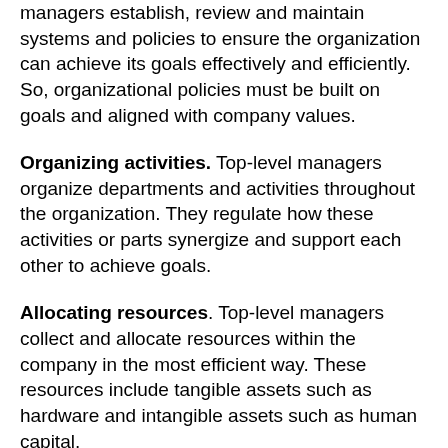managers establish, review and maintain systems and policies to ensure the organization can achieve its goals effectively and efficiently. So, organizational policies must be built on goals and aligned with company values.
Organizing activities. Top-level managers organize departments and activities throughout the organization. They regulate how these activities or parts synergize and support each other to achieve goals.
Allocating resources. Top-level managers collect and allocate resources within the company in the most efficient way. These resources include tangible assets such as hardware and intangible assets such as human capital.